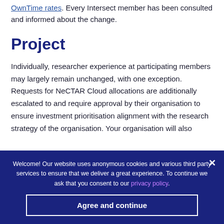OwnTime rates. Every Intersect member has been consulted and informed about the change.
Project
Individually, researcher experience at participating members may largely remain unchanged, with one exception. Requests for NeCTAR Cloud allocations are additionally escalated to and require approval by their organisation to ensure investment prioritisation alignment with the research strategy of the organisation. Your organisation will also
Welcome! Our website uses anonymous cookies and various third party services to ensure that we deliver a great experience. To continue we ask that you consent to our privacy policy.
Agree and continue